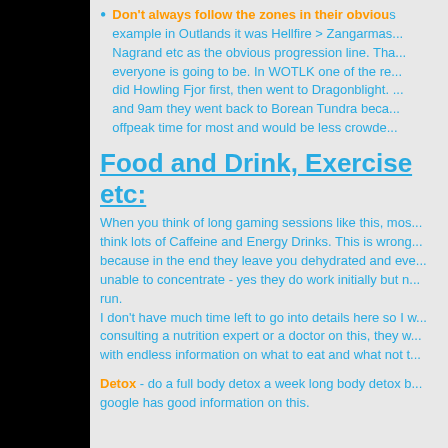Don't always follow the zones in their obvious order - for example in Outlands it was Hellfire > Zangarmas... Nagrand etc as the obvious progression line. Tha... everyone is going to be. In WOTLK one of the re... did Howling Fjor first, then went to Dragonblight. ... and 9am they went back to Borean Tundra beca... offpeak time for most and would be less crowde...
Food and Drink, Exercise etc:
When you think of long gaming sessions like this, mos... think lots of Caffeine and Energy Drinks. This is wrong... because in the end they leave you dehydrated and eve... unable to concentrate - yes they do work initially but n... run.
I don't have much time left to go into details here so I w... consulting a nutrition expert or a doctor on this, they w... with endless information on what to eat and what not t...
Detox - do a full body detox a week long body detox b... google has good information on this.